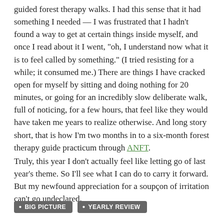guided forest therapy walks. I had this sense that it had something I needed — I was frustrated that I hadn't found a way to get at certain things inside myself, and once I read about it I went, "oh, I understand now what it is to feel called by something." (I tried resisting for a while; it consumed me.) There are things I have cracked open for myself by sitting and doing nothing for 20 minutes, or going for an incredibly slow deliberate walk, full of noticing, for a few hours, that feel like they would have taken me years to realize otherwise. And long story short, that is how I'm two months in to a six-month forest therapy guide practicum through ANFT.
Truly, this year I don't actually feel like letting go of last year's theme. So I'll see what I can do to carry it forward. But my newfound appreciation for a soupçon of irritation can't go undeclared.
BIG PICTURE
YEARLY REVIEW